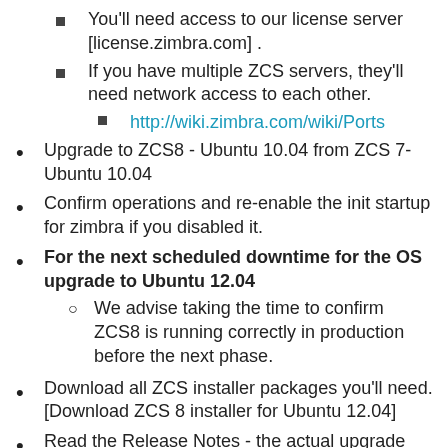You'll need access to our license server [license.zimbra.com] .
If you have multiple ZCS servers, they'll need network access to each other.
http://wiki.zimbra.com/wiki/Ports
Upgrade to ZCS8 - Ubuntu 10.04 from ZCS 7- Ubuntu 10.04
Confirm operations and re-enable the init startup for zimbra if you disabled it.
For the next scheduled downtime for the OS upgrade to Ubuntu 12.04
We advise taking the time to confirm ZCS8 is running correctly in production before the next phase.
Download all ZCS installer packages you'll need. [Download ZCS 8 installer for Ubuntu 12.04]
Read the Release Notes - the actual upgrade process is detailed in there for ZCS.